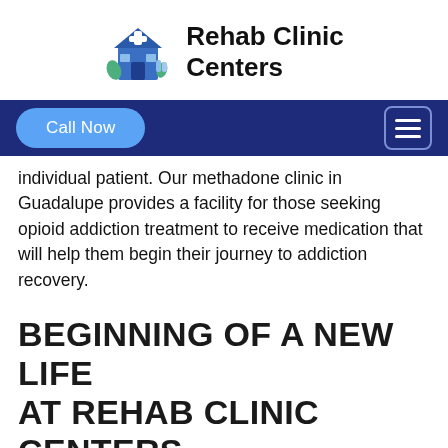[Figure (logo): Rehab Clinic Centers logo with blue building/clinic icon and bold text]
Call Now | hamburger menu navigation bar
individual patient. Our methadone clinic in Guadalupe provides a facility for those seeking opioid addiction treatment to receive medication that will help them begin their journey to addiction recovery.
BEGINNING OF A NEW LIFE AT REHAB CLINIC CENTERS
Rehab Clinic Centers helps you to start a sober